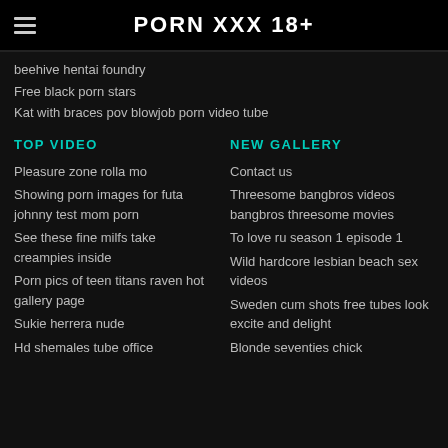PORN XXX 18+
beehive hentai foundry
Free black porn stars
Kat with braces pov blowjob porn video tube
TOP VIDEO
NEW GALLERY
Pleasure zone rolla mo
Contact us
Showing porn images for futa johnny test mom porn
Threesome bangbros videos bangbros threesome movies
See these fine milfs take creampies inside
To love ru season 1 episode 1
Porn pics of teen titans raven hot gallery page
Wild hardcore lesbian beach sex videos
Sukie herrera nude
Sweden cum shots free tubes look excite and delight
Hd shemales tube office
Blonde seventies chick